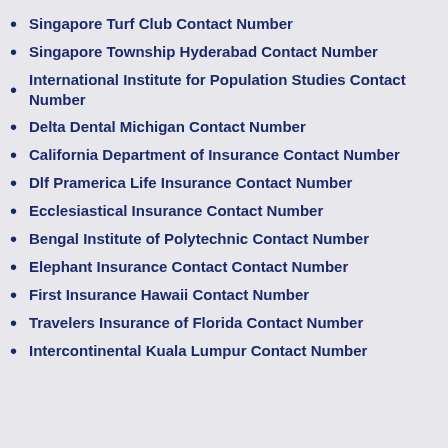Singapore Turf Club Contact Number
Singapore Township Hyderabad Contact Number
International Institute for Population Studies Contact Number
Delta Dental Michigan Contact Number
California Department of Insurance Contact Number
Dlf Pramerica Life Insurance Contact Number
Ecclesiastical Insurance Contact Number
Bengal Institute of Polytechnic Contact Number
Elephant Insurance Contact Contact Number
First Insurance Hawaii Contact Number
Travelers Insurance of Florida Contact Number
Intercontinental Kuala Lumpur Contact Number